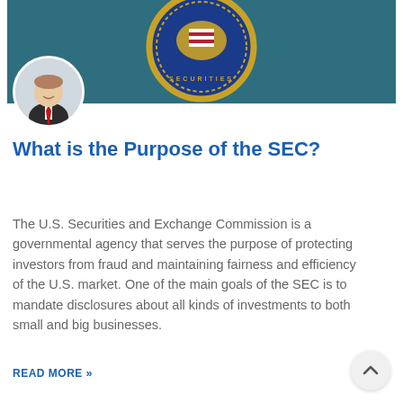[Figure (photo): SEC seal/logo banner image at top of article, showing the U.S. Securities and Exchange Commission seal in blue and gold on a dark teal background]
[Figure (photo): Circular profile photo of a man in a suit with a red tie, smiling, overlapping the banner image]
What is the Purpose of the SEC?
The U.S. Securities and Exchange Commission is a governmental agency that serves the purpose of protecting investors from fraud and maintaining fairness and efficiency of the U.S. market. One of the main goals of the SEC is to mandate disclosures about all kinds of investments to both small and big businesses.
READ MORE »